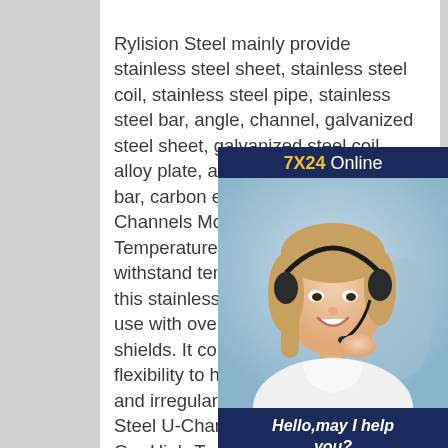Rylision Steel mainly provide stainless steel sheet, stainless steel coil, stainless steel pipe, stainless steel bar, angle, channel, galvanized steel sheet, galvanized steel coil, alloy plate, alloy pipe,alloy pipe round bar, carbon etc. Stainless Steel U-Channels McMaster-CarrHigh-Temperature Metal Trim. Designed to withstand temperatures up to 800° F, this stainless steel trim is good for use with ovens, boilers, and heat shields. It combines strength with flexibility to hold snugly on flat, round, and irregular-shaped edges. Stainless Steel U-Channels McMaster-CarrHigh-Temperature Flexible Metal Trim. Designed to withstand temperatures up to 800° F, this stainless steel trim is good for use with ovens, boilers, and heat
[Figure (photo): Advertisement banner with a woman wearing a headset smiling, on a dark blue background. Shows '7X24 Online' header in yellow/white, a customer service photo, 'Hello, may I help you?' text in white italic, and a 'Get Latest Price' yellow button.]